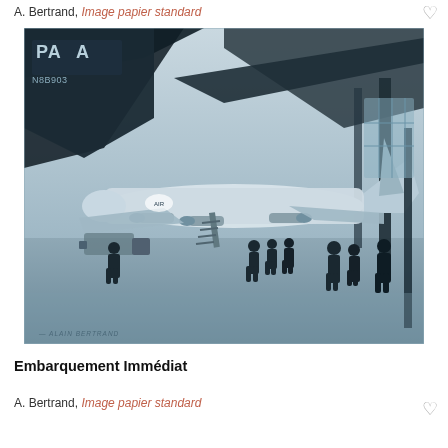A. Bertrand, Image papier standard
[Figure (illustration): Painting showing a vintage airport scene in blue-grey tones. A large propeller airliner (Pan American, registration N8B903) is on the tarmac with boarding stairs. Silhouettes of passengers walk toward the plane from under a terminal canopy. Airport staff and ground equipment visible in background. Signed 'Alain Bertrand' at bottom left.]
Embarquement Immédiat
A. Bertrand, Image papier standard